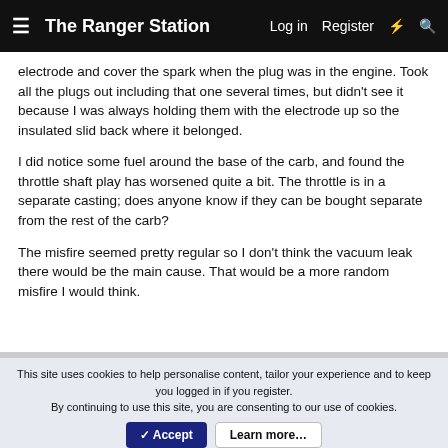The Ranger Station | Log in | Register
electrode and cover the spark when the plug was in the engine. Took all the plugs out including that one several times, but didn't see it because I was always holding them with the electrode up so the insulated slid back where it belonged.
I did notice some fuel around the base of the carb, and found the throttle shaft play has worsened quite a bit. The throttle is in a separate casting; does anyone know if they can be bought separate from the rest of the carb?
The misfire seemed pretty regular so I don't think the vacuum leak there would be the main cause. That would be a more random misfire I would think.
This site uses cookies to help personalise content, tailor your experience and to keep you logged in if you register.
By continuing to use this site, you are consenting to our use of cookies.